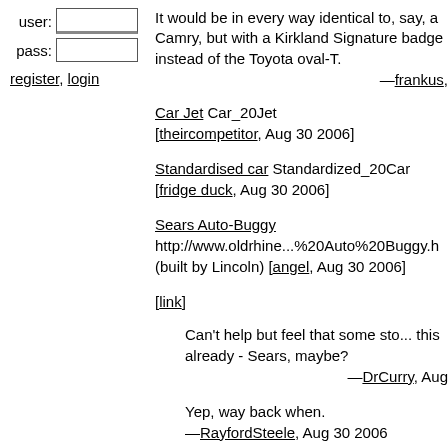user: [input] pass: [input]
register, login
It would be in every way identical to, say, a Camry, but with a Kirkland Signature badge instead of the Toyota oval-T.
—frankus,
Car Jet Car_20Jet [theircompetitor, Aug 30 2006]
Standardised car Standardized_20Car [fridge duck, Aug 30 2006]
Sears Auto-Buggy http://www.oldrhine...%20Auto%20Buggy.h (built by Lincoln) [angel, Aug 30 2006]
[link]
Can't help but feel that some sto... this already - Sears, maybe?
—DrCurry, Aug
Yep, way back when. —RayfordSteele, Aug 30 2006
Bring it back, then. I hate the bar...